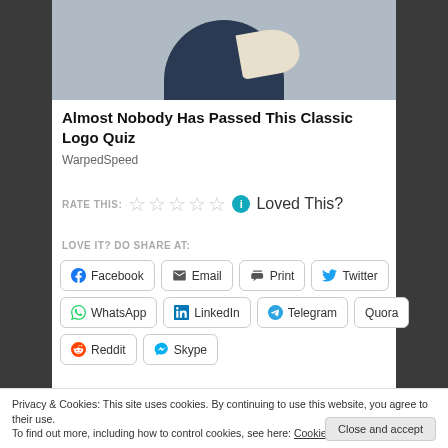[Figure (photo): Top portion of a figure/character in dark navy clothing with a cream/beige scarf]
Almost Nobody Has Passed This Classic Logo Quiz
WarpedSpeed
RATE THIS: ☆☆☆☆☆ ℹ Loved This?
LOVE IT? DO SHARE AT:
Facebook  Email  Print  Twitter
WhatsApp  LinkedIn  Telegram  Quora
Reddit  Skype
Privacy & Cookies: This site uses cookies. By continuing to use this website, you agree to their use.
To find out more, including how to control cookies, see here: Cookie Policy
Close and accept